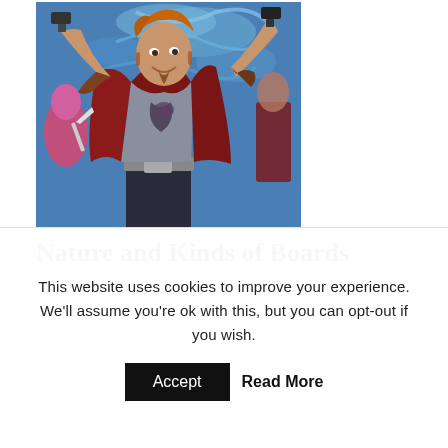[Figure (illustration): Comic book style illustration of a superhero character (Star-Lord / Peter Quill) with red jacket, brown gloves, holding blasters, surrounded by other characters including Gamora, with blue swirling background reminiscent of Van Gogh's Starry Night.]
Nature and Kinds of Boards
This website uses cookies to improve your experience. We'll assume you're ok with this, but you can opt-out if you wish.